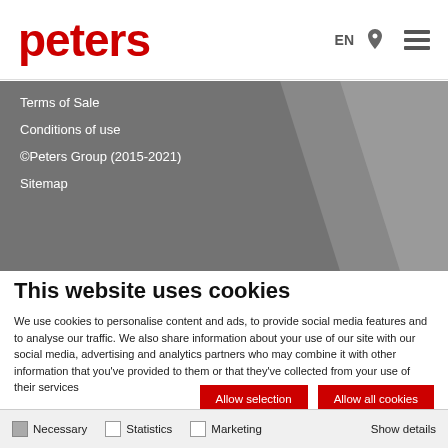[Figure (logo): Peters logo in bold red text]
Terms of Sale
Conditions of use
©Peters Group (2015-2021)
Sitemap
This website uses cookies
We use cookies to personalise content and ads, to provide social media features and to analyse our traffic. We also share information about your use of our site with our social media, advertising and analytics partners who may combine it with other information that you've provided to them or that they've collected from your use of their services
Allow selection
Allow all cookies
Necessary   Statistics   Marketing   Show details